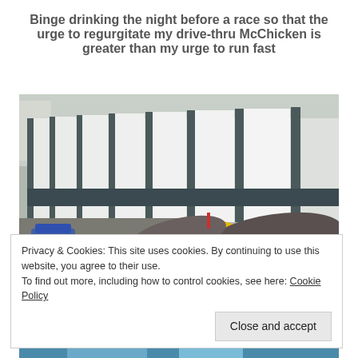Binge drinking the night before a race so that the urge to regurgitate my drive-thru McChicken is greater than my urge to run fast
[Figure (photo): Outdoor photo showing a row of white-paneled structures with dark window frames, resembling changing rooms or storage units along a poolside. Yellow and blue equipment is visible in the foreground including what appears to be large tubes/hoses.]
Privacy & Cookies: This site uses cookies. By continuing to use this website, you agree to their use.
To find out more, including how to control cookies, see here: Cookie Policy
[Figure (photo): Bottom strip showing a partial view of what appears to be a blue surface or water.]